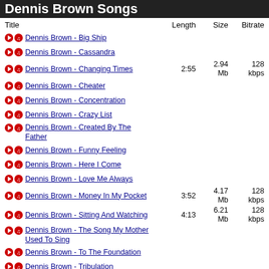Dennis Brown Songs
| Title | Length | Size | Bitrate |
| --- | --- | --- | --- |
| Dennis Brown - Big Ship |  |  |  |
| Dennis Brown - Cassandra |  |  |  |
| Dennis Brown - Changing Times | 2:55 | 2.94 Mb | 128 kbps |
| Dennis Brown - Cheater |  |  |  |
| Dennis Brown - Concentration |  |  |  |
| Dennis Brown - Crazy List |  |  |  |
| Dennis Brown - Created By The Father |  |  |  |
| Dennis Brown - Funny Feeling |  |  |  |
| Dennis Brown - Here I Come |  |  |  |
| Dennis Brown - Love Me Always |  |  |  |
| Dennis Brown - Money In My Pocket | 3:52 | 4.17 Mb | 128 kbps |
| Dennis Brown - Sitting And Watching | 4:13 | 6.21 Mb | 128 kbps |
| Dennis Brown - The Song My Mother Used To Sing |  |  |  |
| Dennis Brown - To The Foundation |  |  |  |
| Dennis Brown - Tribulation |  |  |  |